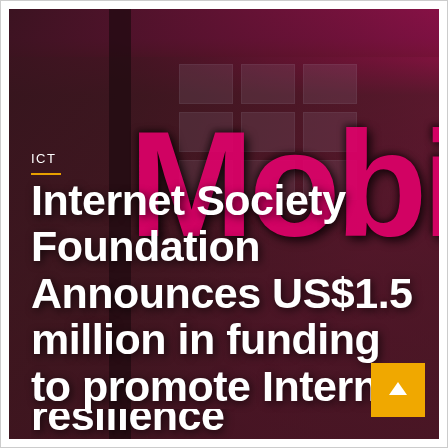[Figure (photo): Background photo of a building with T-Mobile pink signage showing 'Mobi' letters in magenta/hot-pink against dark glass windows. A bright pink horizontal band runs across the top. The overall scene is dark with magenta and pink accent lighting.]
ICT
Internet Society Foundation Announces US$1.5 million in funding to promote Internet